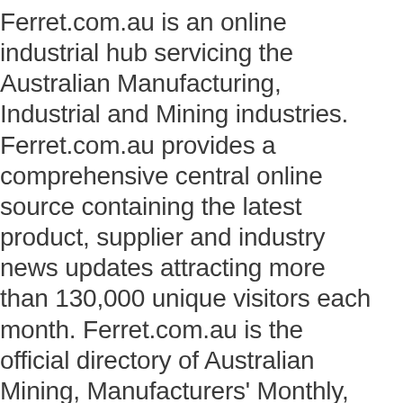Ferret.com.au is an online industrial hub servicing the Australian Manufacturing, Industrial and Mining industries. Ferret.com.au provides a comprehensive central online source containing the latest product, supplier and industry news updates attracting more than 130,000 unique visitors each month. Ferret.com.au is the official directory of Australian Mining, Manufacturers' Monthly, PACE, Food & Beverage Industry News, and Safe to Work.